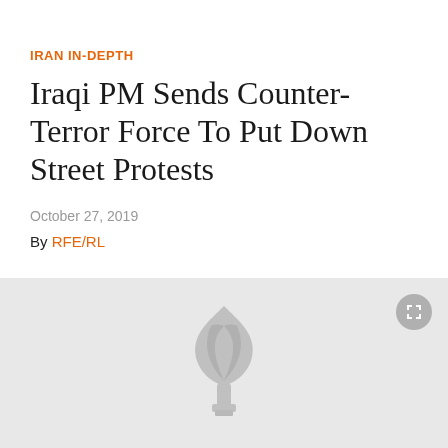IRAN IN-DEPTH
Iraqi PM Sends Counter-Terror Force To Put Down Street Protests
October 27, 2019
By RFE/RL
[Figure (photo): Gray placeholder image with RFE/RL logo watermark and fullscreen button in top right corner]